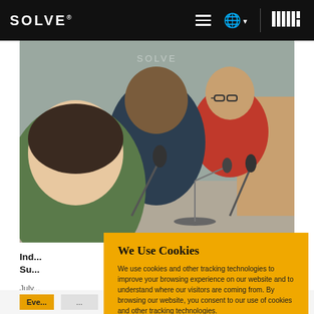SOLVE® [hamburger menu] [globe] MIT
[Figure (photo): Panel discussion with multiple people seated at a table with microphones. A woman in a green shirt is in the foreground on the left, a man in a dark suit in the center, a man in a red shirt and glasses to the right, and another person partially visible at far right.]
Ind...
Su...
July...
We Use Cookies
We use cookies and other tracking technologies to improve your browsing experience on our website and to understand where our visitors are coming from. By browsing our website, you consent to our use of cookies and other tracking technologies.
ACCEPT
REJECT
Eve...